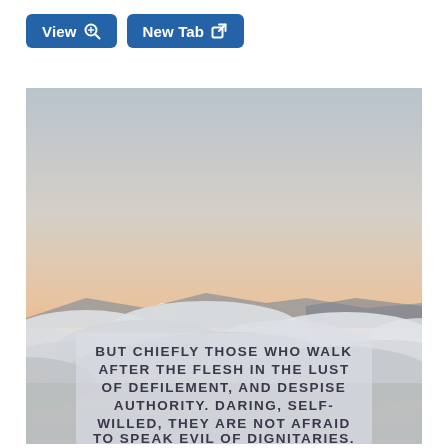[Figure (screenshot): Browser UI buttons: 'View' with magnifier icon and 'New Tab' with external link icon, styled as blue rounded rectangles]
[Figure (photo): Sunset or sunrise scene above clouds or mist, with a glowing sun on the horizon, warm orange and pink sky above a sea of white clouds. Overlaid semi-transparent text box with biblical quote in uppercase bold letters: BUT CHIEFLY THOSE WHO WALK AFTER THE FLESH IN THE LUST OF DEFILEMENT, AND DESPISE AUTHORITY. DARING, SELF-WILLED, THEY ARE NOT AFRAID TO SPEAK EVIL OF DIGNITARIES.]